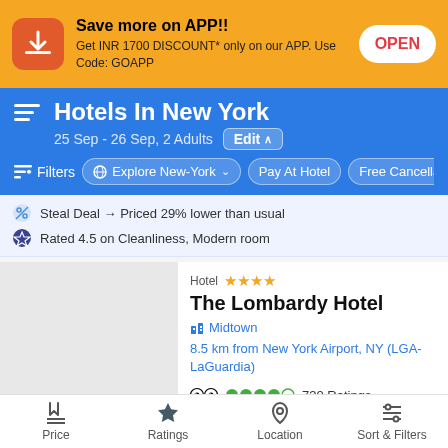Save more on APP!! Get INR 1700 DISCOUNT* only on our APP. Use Code: GOAPP
Hotels In New York
25 Sep - 26 Sep, 2 Adults
Filters | Explore New-York | Pay At Hotel | Free Cancellation
Steal Deal → Priced 29% lower than usual
Rated 4.5 on Cleanliness, Modern room
Hotel ★★★★ The Lombardy Hotel
Midtown
8.5 km from New York Airport, NY (LGA-LaGuardia)
730 Ratings
Price | Ratings | Location | Sort & Filters